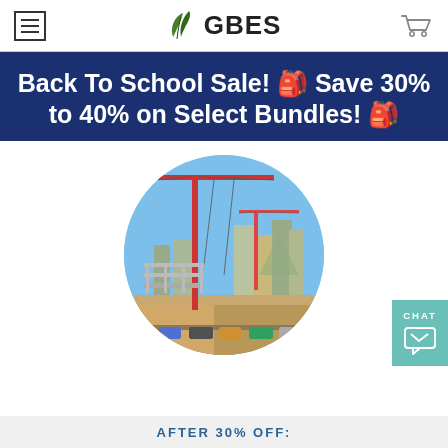GBES
Back To School Sale! 🎒 Save 30% to 40% on Select Bundles! 🎒
[Figure (photo): Circular cropped photo of a construction site with tower cranes and city buildings in the background under a blue sky.]
AFTER 30% OFF: